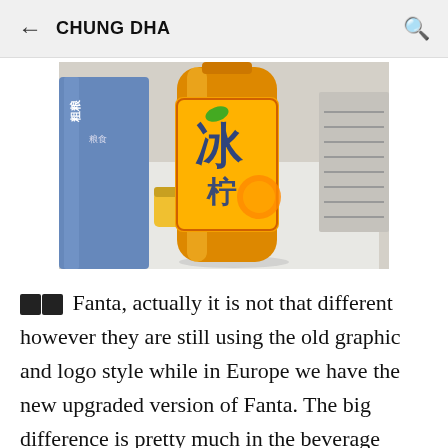← CHUNG DHA 🔍
[Figure (photo): Photo of a Chinese Fanta orange soda bottle on a white counter/shelf, with a blue bag of rice on the left and a ventilated appliance on the right.]
🔲🔲 Fanta, actually it is not that different however they are still using the old graphic and logo style while in Europe we have the new upgraded version of Fanta. The big difference is pretty much in the beverage itself. As you can see the orange is pretty dark and pretty much is a very chemical color, if you would compare it to the